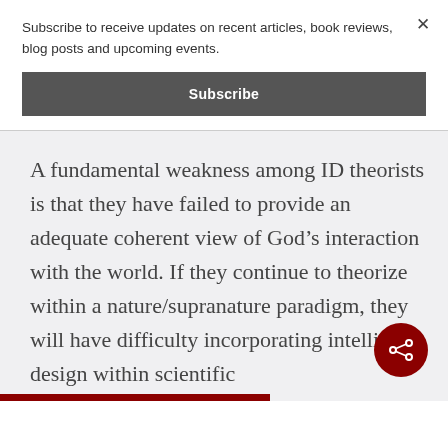Subscribe to receive updates on recent articles, book reviews, blog posts and upcoming events.
Subscribe
A fundamental weakness among ID theorists is that they have failed to provide an adequate coherent view of God’s interaction with the world. If they continue to theorize within a nature/supranature paradigm, they will have difficulty incorporating intelligent design within scientific